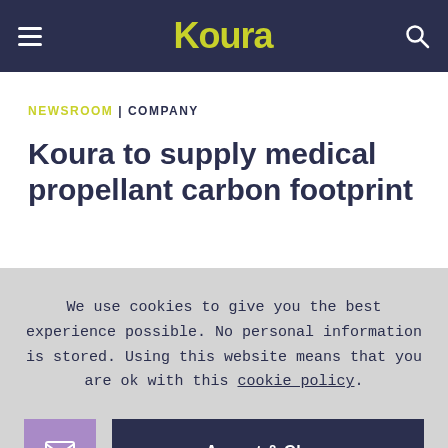Koura
NEWSROOM | COMPANY
Koura to supply medical propellant carbon footprint
We use cookies to give you the best experience possible. No personal information is stored. Using this website means that you are ok with this cookie policy.